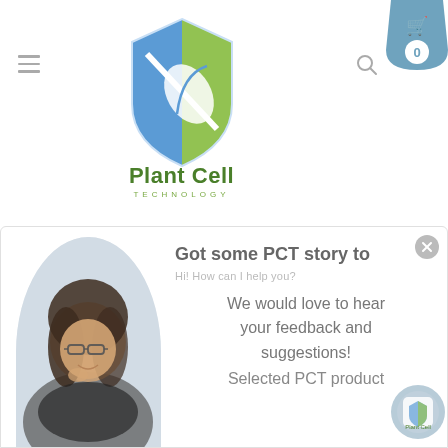[Figure (logo): Plant Cell Technology logo - shield with blue and green sections, with a leaf/plant icon, and text 'Plant Cell' and 'TECHNOLOGY' below]
[Figure (other): Shopping cart icon badge in teal/blue with number 0]
[Figure (other): Search magnifying glass icon]
[Figure (other): Chat popup overlay with photo of smiling woman with glasses, title 'Got some PCT story to', subtitle 'Hi! How can I help you?', body text 'We would love to hear your feedback and suggestions!', and partial text 'Selected PCT product']